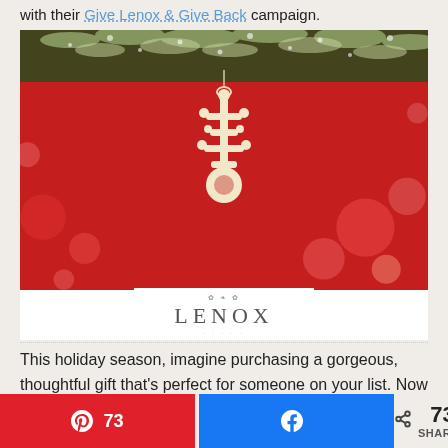with their Give Lenox & Give Back campaign.
[Figure (photo): A cream/ivory porcelain snowflake ornament hanging against a red bokeh background with pine branches at the top. The Lenox logo appears below the photo.]
This holiday season, imagine purchasing a gorgeous, thoughtful gift that's perfect for someone on your list. Now imagine the extra meaning it would have if
[Figure (infographic): Social share bar with Pinterest button showing 73, Facebook share button, and share count of 73 SHARES]